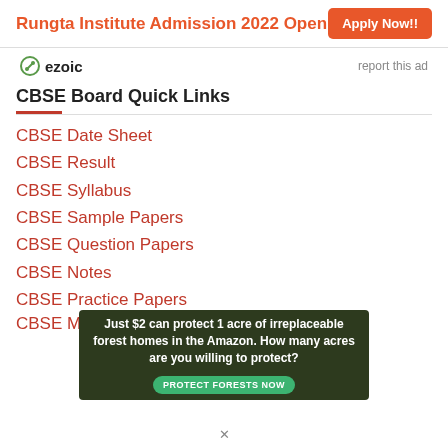Rungta Institute Admission 2022 Open  Apply Now!!
[Figure (logo): Ezoic logo with 'report this ad' text]
CBSE Board Quick Links
CBSE Date Sheet
CBSE Result
CBSE Syllabus
CBSE Sample Papers
CBSE Question Papers
CBSE Notes
CBSE Practice Papers
CBSE Mock Test (truncated)
[Figure (infographic): Advertisement banner: Just $2 can protect 1 acre of irreplaceable forest homes in the Amazon. How many acres are you willing to protect? PROTECT FORESTS NOW button]